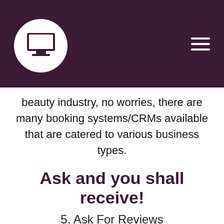[Figure (logo): White circle with a computer monitor icon inside, on dark purple header background with hamburger menu icon on right]
beauty industry, no worries, there are many booking systems/CRMs available that are catered to various business types.
Ask and you shall receive!
5. Ask For Reviews
Never be ashamed to ask your satisfied customers for reviews! Great reviews are a sure